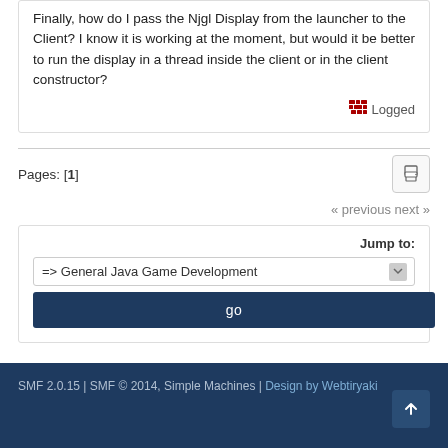Finally, how do I pass the Njgl Display from the launcher to the Client? I know it is working at the moment, but would it be better to run the display in a thread inside the client or in the client constructor?
Logged
Pages: [1]
« previous next »
Jump to:
=> General Java Game Development
go
SMF 2.0.15 | SMF © 2014, Simple Machines | Design by Webtiryaki